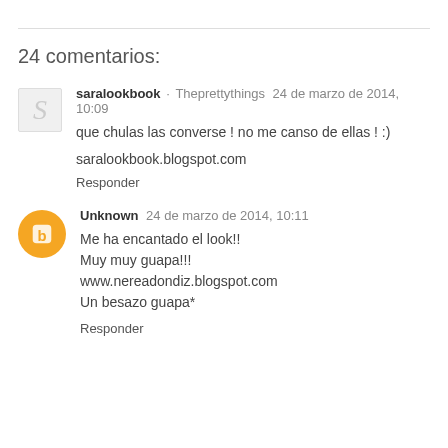24 comentarios:
saralookbook · Theprettythings  24 de marzo de 2014, 10:09
que chulas las converse ! no me canso de ellas ! :)
saralookbook.blogspot.com
Responder
Unknown  24 de marzo de 2014, 10:11
Me ha encantado el look!!
Muy muy guapa!!!
www.nereadondiz.blogspot.com
Un besazo guapa*
Responder